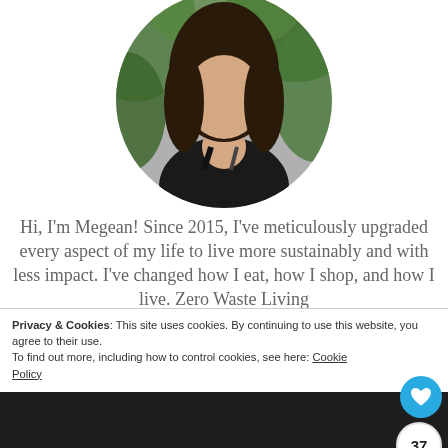[Figure (photo): Circular profile photo of a woman with long dark hair wearing a black tank top, with green foliage in the background.]
Hi, I'm Megean! Since 2015, I've meticulously upgraded every aspect of my life to live more sustainably and with less impact. I've changed how I eat, how I shop, and how I live. Zero Waste Living
Privacy & Cookies: This site uses cookies. By continuing to use this website, you agree to their use.
To find out more, including how to control cookies, see here: Cookie Policy
❯ Privacy Preferences
I Agree
Close and acce
37